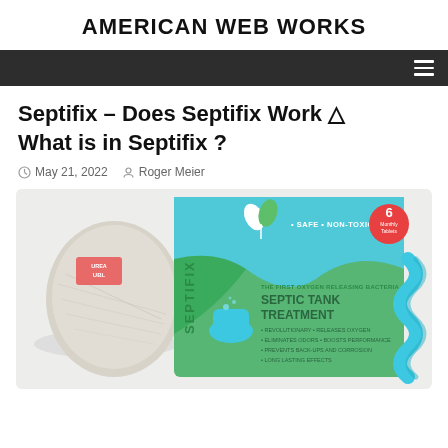AMERICAN WEB WORKS
Septifix – Does Septifix Work △ What is in Septifix ?
May 21, 2022   Roger Meier
[Figure (photo): Septifix product photo showing a round tablet/disc beside the Septifix product box. The green and blue box reads: SAFE · NON-TOXIC, 6 Monthly Tablets, SEPTIFIX, THE FIRST OXYGEN RELEASING BACTERIA, SEPTIC TANK TREATMENT, · REVOLUTIONARY · RELEASES OXYGEN · ELIMINATES ODORS · BOOSTS PERFORMANCE · PREVENTS BACK-UPS AND CORROSION · LONG LASTING EFFECTS]